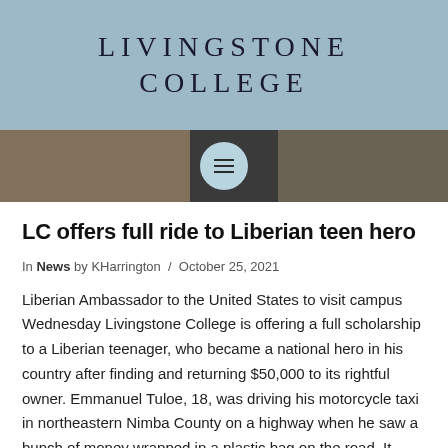LIVINGSTONE COLLEGE
[Figure (photo): Navigation bar with a photo of people in the background and a circular menu button with three horizontal lines in the center.]
LC offers full ride to Liberian teen hero
In News by KHarrington / October 25, 2021
Liberian Ambassador to the United States to visit campus Wednesday Livingstone College is offering a full scholarship to a Liberian teenager, who became a national hero in his country after finding and returning $50,000 to its rightful owner. Emmanuel Tuloe, 18, was driving his motorcycle taxi in northeastern Nimba County on a highway when he saw a bunch of money wrapped in a plastic bag on the road. It contained $50,000 USD and $100,000 in Liberian money. News reports say